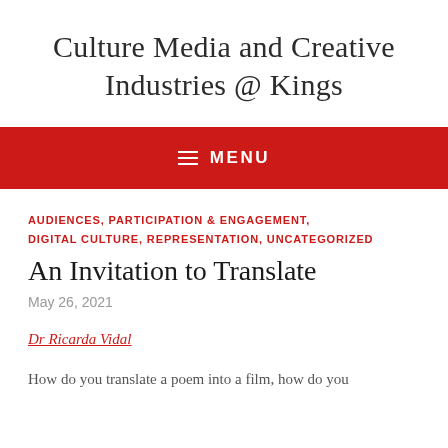Culture Media and Creative Industries @ Kings
≡ MENU
AUDIENCES, PARTICIPATION & ENGAGEMENT, DIGITAL CULTURE, REPRESENTATION, UNCATEGORIZED
An Invitation to Translate
May 26, 2021
Dr Ricarda Vidal
How do you translate a poem into a film, how do you